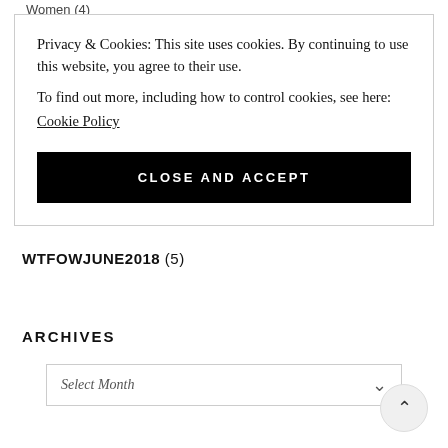Women (4)
Privacy & Cookies: This site uses cookies. By continuing to use this website, you agree to their use.
To find out more, including how to control cookies, see here:
Cookie Policy
CLOSE AND ACCEPT
WTFOWJUNE2018 (5)
ARCHIVES
Select Month